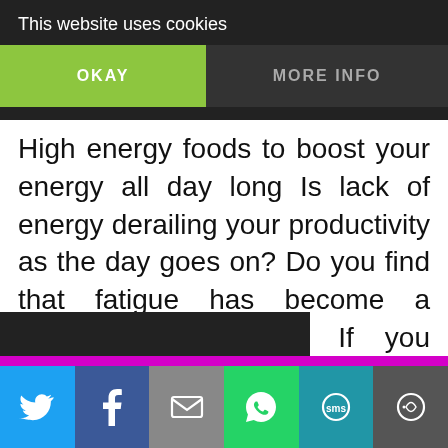This website uses cookies
OKAY
MORE INFO
High energy foods to boost your energy all day long Is lack of energy derailing your productivity as the day goes on? Do you find that fatigue has become a constant companion? If you answered yes to any of these questions, you need to start eating these 19 high-energy foods to keep your energy high [...]
[Figure (screenshot): Social sharing bar with Twitter, Facebook, Email, WhatsApp, SMS, and More buttons at the bottom of the page]